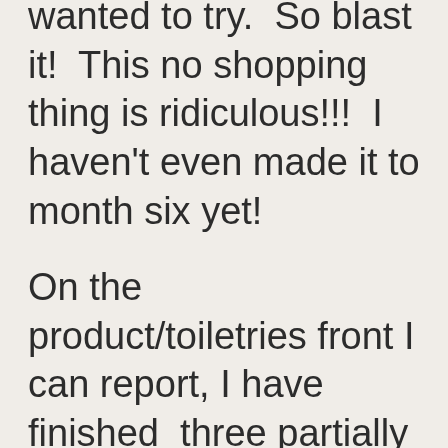wanted to try.  So blast it!  This no shopping thing is ridiculous!!!  I haven't even made it to month six yet!
On the product/toiletries front I can report, I have finished  three partially used shampoo bottles, and two bottles of conditioner.  I still have a drawer with two full bottles of shampoo and conditioner in